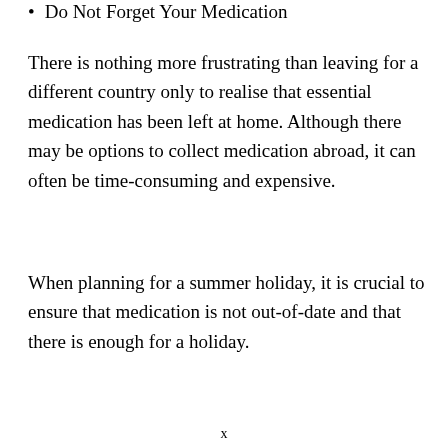Do Not Forget Your Medication
There is nothing more frustrating than leaving for a different country only to realise that essential medication has been left at home. Although there may be options to collect medication abroad, it can often be time-consuming and expensive.
When planning for a summer holiday, it is crucial to ensure that medication is not out-of-date and that there is enough for a holiday.
x